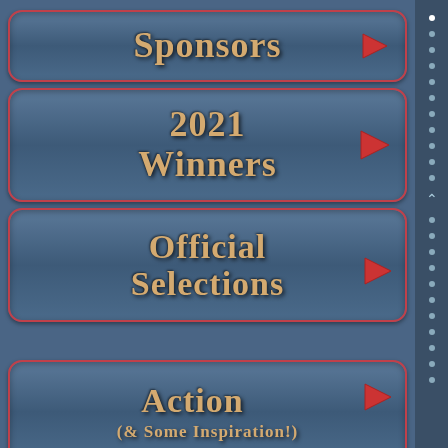[Figure (infographic): Navigation menu with blue rounded rectangle buttons on steel blue background. Buttons: Sponsors (with red arrow), 2021 Winners (with red arrow), Official Selections (with red arrow), Action & Some Inspiration (with red arrow). Right side has a scrollbar with dots and up arrow.]
Sponsors
2021 Winners
Official Selections
Action
(& Some Inspiration!)